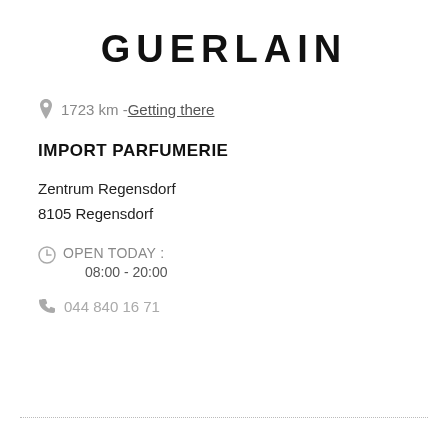GUERLAIN
1723 km - Getting there
IMPORT PARFUMERIE
Zentrum Regensdorf
8105 Regensdorf
OPEN TODAY : 08:00 - 20:00
044 840 16 71